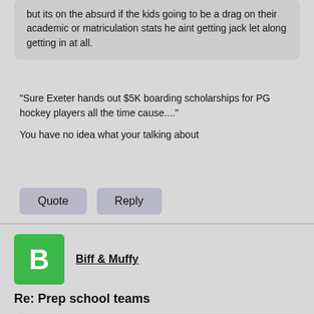but its on the absurd if the kids going to be a drag on their academic or matriculation stats he aint getting jack let along getting in at all.
"Sure Exeter hands out $5K boarding scholarships for PG hockey players all the time cause...."
You have no idea what your talking about
Quote  Reply
Biff & Muffy
Re: Prep school teams
Aanon